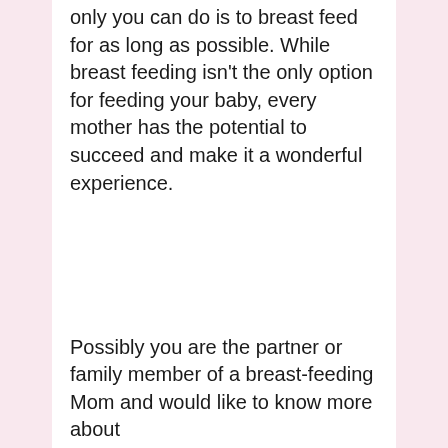only you can do is to breast feed for as long as possible. While breast feeding isn't the only option for feeding your baby, every mother has the potential to succeed and make it a wonderful experience.
Possibly you are the partner or family member of a breast-feeding Mom and would like to know more about